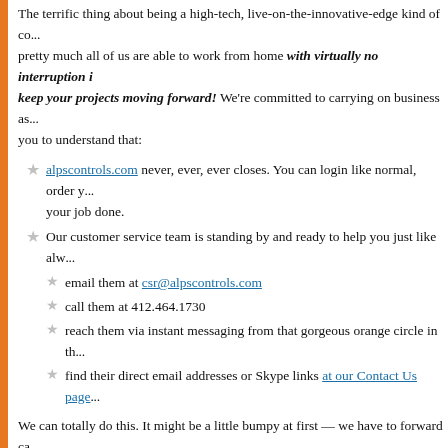The terrific thing about being a high-tech, live-on-the-innovative-edge kind of co... pretty much all of us are able to work from home with virtually no interruption in keep your projects moving forward! We're committed to carrying on business as... you to understand that:
alpscontrols.com never, ever, ever closes. You can login like normal, order y... your job done.
Our customer service team is standing by and ready to help you just like alw...
email them at csr@alpscontrols.com
call them at 412.464.1730
reach them via instant messaging from that gorgeous orange circle in th...
find their direct email addresses or Skype links at our Contact Us page
We can totally do this. It might be a little bumpy at first — we have to forward ca... around, that kind of thing — but really, you should notice very little difference. W... online marketplace for all of your HVAC and building automation parts, and our u... us with the means to serve you no matter where we are.
We hope that you, your companies, your friends and families are all safe and heal... small measures like working from home, we can make a positive difference in thi... is able, will do their part as well.